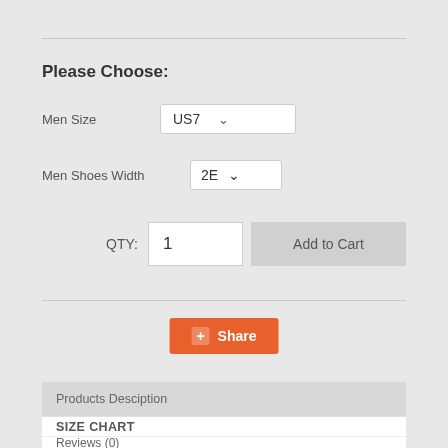Please Choose:
Men Size   US7
Men Shoes Width   2E
QTY:   1   Add to Cart
Share
Products Desciption
SIZE CHART
Reviews (0)